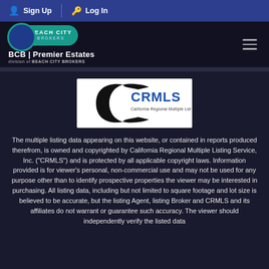Sign Up | Log In
[Figure (logo): BCB Premier Estates, division of Beach City Brokers logo with teal oval badge and navigation hamburger menu]
[Figure (logo): CRMLS - California Regional Multiple Listing Service, Inc. logo]
The multiple listing data appearing on this website, or contained in reports produced therefrom, is owned and copyrighted by California Regional Multiple Listing Service, Inc. ("CRMLS") and is protected by all applicable copyright laws. Information provided is for viewer's personal, non-commercial use and may not be used for any purpose other than to identify prospective properties the viewer may be interested in purchasing. All listing data, including but not limited to square footage and lot size is believed to be accurate, but the listing Agent, listing Broker and CRMLS and its affiliates do not warrant or guarantee such accuracy. The viewer should independently verify the listed data